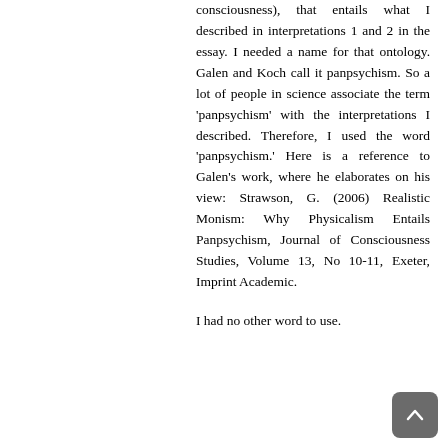consciousness), that entails what I described in interpretations 1 and 2 in the essay. I needed a name for that ontology. Galen and Koch call it panpsychism. So a lot of people in science associate the term 'panpsychism' with the interpretations I described. Therefore, I used the word 'panpsychism.' Here is a reference to Galen's work, where he elaborates on his view: Strawson, G. (2006) Realistic Monism: Why Physicalism Entails Panpsychism, Journal of Consciousness Studies, Volume 13, No 10-11, Exeter, Imprint Academic.
I had no other word to use.